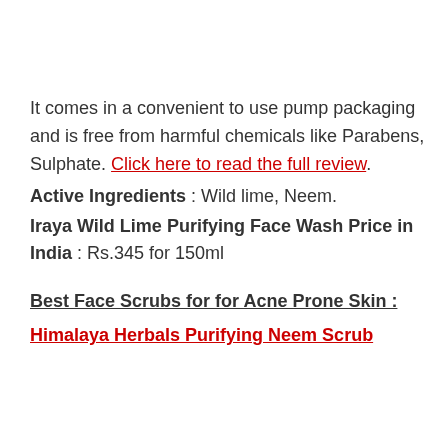It comes in a convenient to use pump packaging and is free from harmful chemicals like Parabens, Sulphate. Click here to read the full review.
Active Ingredients : Wild lime, Neem.
Iraya Wild Lime Purifying Face Wash Price in India : Rs.345 for 150ml
Best Face Scrubs for for Acne Prone Skin :
Himalaya Herbals Purifying Neem Scrub